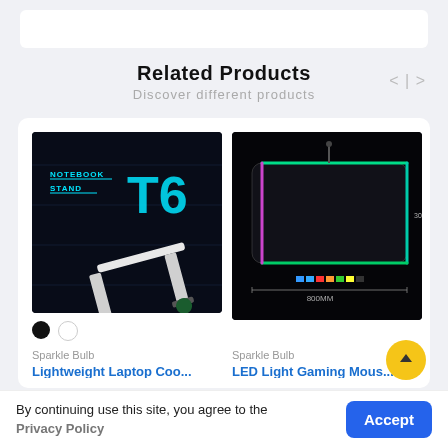Related Products
Discover different products
[Figure (screenshot): Notebook Stand T6 product image — white laptop stand on dark futuristic background with cyan/blue text 'NOTEBOOK STAND T6']
Sparkle Bulb
Lightweight Laptop Coo...
[Figure (screenshot): LED gaming mouse pad on black background with RGB border, showing dimensions 800MM x 300MM]
Sparkle Bulb
LED Light Gaming Mous...
By continuing use this site, you agree to the Privacy Policy